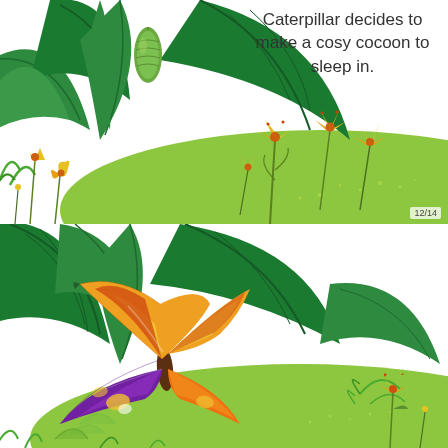Caterpillar decides to make a cosy cocoon to sleep in.
[Figure (illustration): Illustration of green tropical leaves with a chrysalis/cocoon hanging from a leaf, surrounded by yellow and orange flowers on a green landscape background. Page number 12/14 in bottom right corner.]
[Figure (illustration): Illustration of a colorful butterfly with purple, orange, and yellow wings resting among large green tropical leaves, with yellow and orange flowers on a green landscape background.]